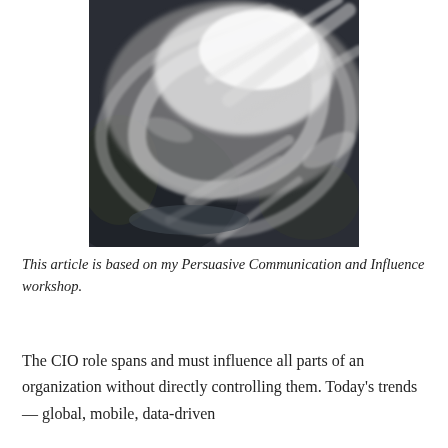[Figure (photo): Satellite photograph of a storm or hurricane system viewed from above, showing swirling clouds and land/ocean below in black and white.]
This article is based on my Persuasive Communication and Influence workshop.
The CIO role spans and must influence all parts of an organization without directly controlling them. Today's trends — global, mobile, data-driven